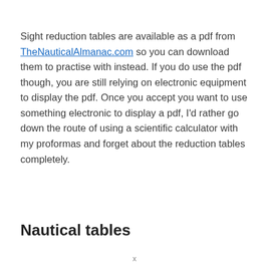Sight reduction tables are available as a pdf from TheNauticalAlmanac.com so you can download them to practise with instead. If you do use the pdf though, you are still relying on electronic equipment to display the pdf. Once you accept you want to use something electronic to display a pdf, I'd rather go down the route of using a scientific calculator with my proformas and forget about the reduction tables completely.
Nautical tables